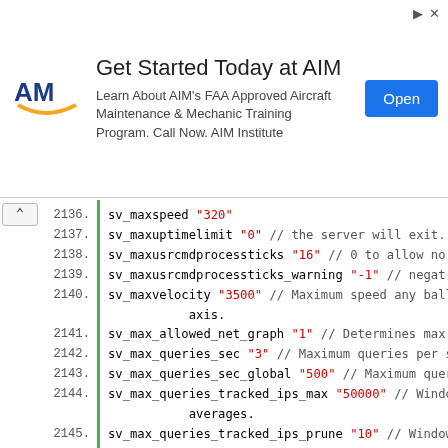[Figure (other): Advertisement banner: Get Started Today at AIM. Learn About AIM's FAA Approved Aircraft Maintenance & Mechanic Training Program. Call Now. AIM Institute. Open button.]
2136. sv_maxspeed "320"
2137. sv_maxuptimelimit "0" // the server will exit.
2138. sv_maxusrcmdprocessticks "16" // 0 to allow no re
2139. sv_maxusrcmdprocessticks_warning "-1" // negat
2140. sv_maxvelocity "3500" // Maximum speed any ballis axis.
2141. sv_max_allowed_net_graph "1" // Determines max al
2142. sv_max_queries_sec "3" // Maximum queries per sec
2143. sv_max_queries_sec_global "500" // Maximum querie
2144. sv_max_queries_tracked_ips_max "50000" // Window averages.
2145. sv_max_queries_tracked_ips_prune "10" // Window o averages.
2146. sv_max_queries_window "10" // Window over which t
2147. sv_memlimit "0" // the server will exit.
2148. sv_mincmdrate "10" // This sets the minimum value
2149. sv_minrate "5000" // 0 == unlimited
2150. sv_minupdaterate "10" // Minimum updates per seco
2151. sv_minuptimelimit "0" // the server will continue
2152. sv_noclipaccelerate "5"
2153. sv_noclipduringpause "0" // etc.).
2154. sv_noclipspeed "5"
2155. sv_parallel_packentities "1"
2156. sv_parallel_sendsnapshot "1"
2157. sv_party_mode "0" // Party!!